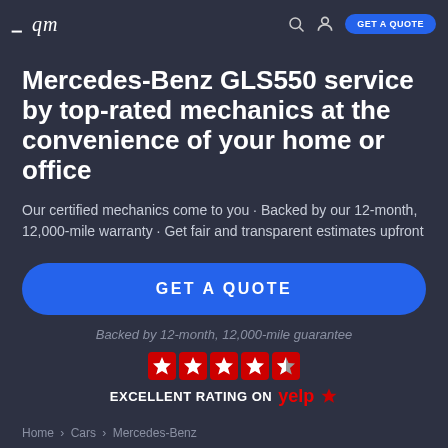— qm [search icon] [user icon] GET A QUOTE
Mercedes-Benz GLS550 service by top-rated mechanics at the convenience of your home or office
Our certified mechanics come to you · Backed by our 12-month, 12,000-mile warranty · Get fair and transparent estimates upfront
GET A QUOTE
Backed by 12-month, 12,000-mile guarantee
[Figure (other): 5 red star rating icons (4 full stars and 1 half star) followed by Yelp logo — EXCELLENT RATING ON Yelp]
Home › Cars › Mercedes-Benz